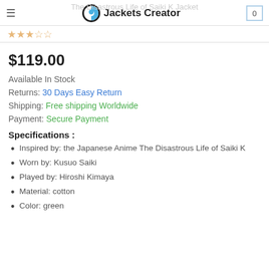Jackets Creator
$119.00
Available In Stock
Returns: 30 Days Easy Return
Shipping: Free shipping Worldwide
Payment: Secure Payment
Specifications :
Inspired by: the Japanese Anime The Disastrous Life of Saiki K
Worn by: Kusuo Saiki
Played by: Hiroshi Kimaya
Material: cotton
Color: green